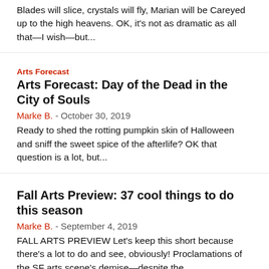Blades will slice, crystals will fly, Marian will be Careyed up to the high heavens. OK, it's not as dramatic as all that—I wish—but...
Arts Forecast
Arts Forecast: Day of the Dead in the City of Souls
Marke B. - October 30, 2019
Ready to shed the rotting pumpkin skin of Halloween and sniff the sweet spice of the afterlife? OK that question is a lot, but...
Fall Arts Preview: 37 cool things to do this season
Marke B. - September 4, 2019
FALL ARTS PREVIEW Let's keep this short because there's a lot to do and see, obviously! Proclamations of the SF arts scene's demise—despite the...